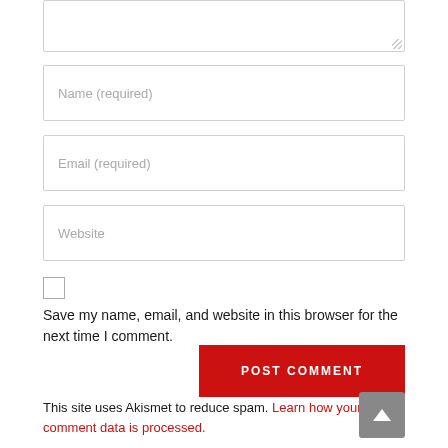[Figure (screenshot): Textarea input box (top portion visible, partially cropped)]
Name (required)
Email (required)
Website
Save my name, email, and website in this browser for the next time I comment.
POST COMMENT
This site uses Akismet to reduce spam. Learn how your comment data is processed.